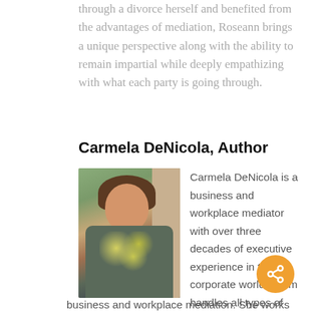through a divorce herself and benefited from the advantages of mediation, Roseann brings a unique perspective along with the ability to remain impartial while deeply empathizing with what each party is going through.
Carmela DeNicola, Author
[Figure (photo): Portrait photo of Carmela DeNicola, a woman with short brown hair wearing a floral wrap blouse, leaning against a brick wall outdoors.]
Carmela DeNicola is a business and workplace mediator with over three decades of executive experience in the corporate world. Carm handles all types of business and workplace mediation. She works